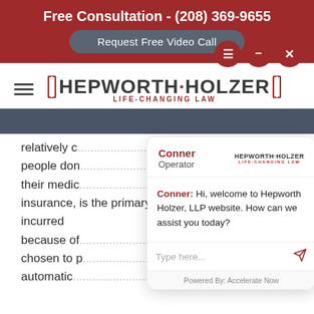Free Consultation - (208) 369-9655
Request Free Video Call
[Figure (logo): Hepworth Holzer Life-Changing Law logo with red bracket design]
relatively c... things that people don... surance, their medic... auto insurance, is the primary bill payer for medical bills incurred because of... o have chosen to p... s not automatic... se.
Conner
Operator
Conner: Hi, welcome to Hepworth Holzer, LLP website. How can we assist you today?
Type here...
Powered By: Accelerate Now